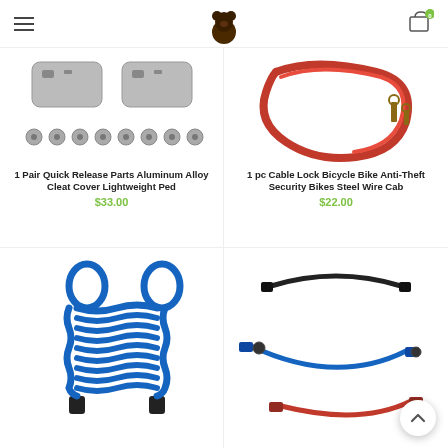Navigation header with hamburger menu, bear logo, and cart icon with badge 0
[Figure (photo): Product image: 1 Pair Quick Release Parts Aluminum Alloy Cleat Cover Lightweight Ped - showing cleats and bolts]
1 Pair Quick Release Parts Aluminum Alloy Cleat Cover Lightweight Ped
$33.00
[Figure (photo): Product image: 1 pc Cable Lock Bicycle Bike Anti-Theft Security Bikes Steel Wire Cab - showing red cable lock with keys]
1 pc Cable Lock Bicycle Bike Anti-Theft Security Bikes Steel Wire Cab
$22.00
[Figure (photo): Product image: Blue coiled spiral cable lock]
[Figure (photo): Product image: Three cable locks in black, blue, and red colors]